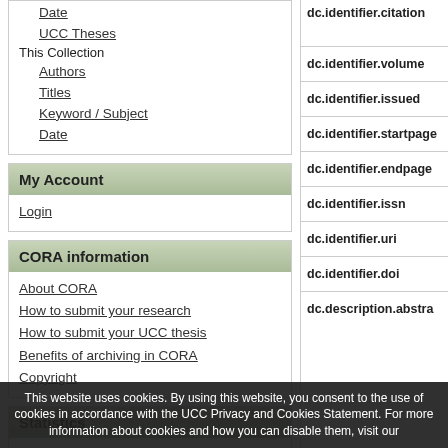Date
UCC Theses
This Collection
Authors
Titles
Keyword / Subject
Date
My Account
Login
CORA information
About CORA
How to submit your research
How to submit your UCC thesis
Benefits of archiving in CORA
Copyright
Statistics
Most Popular Items
Statistics by Country
Most Popular Authors
dc.identifier.citation
dc.identifier.volume
dc.identifier.issued
dc.identifier.startpage
dc.identifier.endpage
dc.identifier.issn
dc.identifier.uri
dc.identifier.doi
dc.description.abstra
This website uses cookies. By using this website, you consent to the use of cookies in accordance with the UCC Privacy and Cookies Statement. For more information about cookies and how you can disable them, visit our